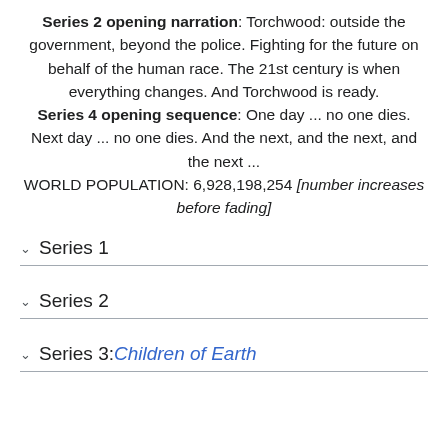Series 2 opening narration: Torchwood: outside the government, beyond the police. Fighting for the future on behalf of the human race. The 21st century is when everything changes. And Torchwood is ready. Series 4 opening sequence: One day ... no one dies. Next day ... no one dies. And the next, and the next, and the next ... WORLD POPULATION: 6,928,198,254 [number increases before fading]
Series 1
Series 2
Series 3: Children of Earth